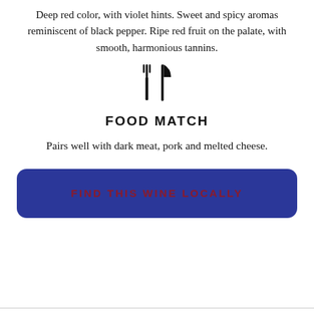Deep red color, with violet hints. Sweet and spicy aromas reminiscent of black pepper. Ripe red fruit on the palate, with smooth, harmonious tannins.
[Figure (illustration): Fork and knife utensils icon, centered, black silhouette]
FOOD MATCH
Pairs well with dark meat, pork and melted cheese.
FIND THIS WINE LOCALLY